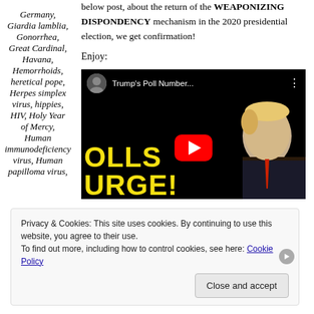Germany, Giardia lamblia, Gonorrhea, Great Cardinal, Havana, Hemorrhoids, heretical pope, Herpes simplex virus, hippies, HIV, Holy Year of Mercy, Human immunodeficiency virus, Human papilloma virus,
below post, about the return of the WEAPONIZING DISPONDENCY mechanism in the 2020 presidential election, we get confirmation!
Enjoy:
[Figure (screenshot): YouTube video thumbnail showing 'Trump's Poll Number...' with yellow text 'POLLS SURGE!' and a play button over an image of Trump]
Privacy & Cookies: This site uses cookies. By continuing to use this website, you agree to their use. To find out more, including how to control cookies, see here: Cookie Policy
Close and accept